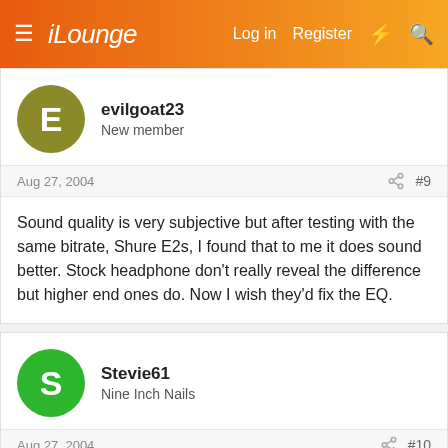iLounge  Log in  Register
evilgoat23
New member
Aug 27, 2004  #9
Sound quality is very subjective but after testing with the same bitrate, Shure E2s, I found that to me it does sound better. Stock headphone don't really reveal the difference but higher end ones do. Now I wish they'd fix the EQ.
Stevie61
Nine Inch Nails
Aug 27, 2004  #10
It could be you are encoding you songs at a lower bit-rate